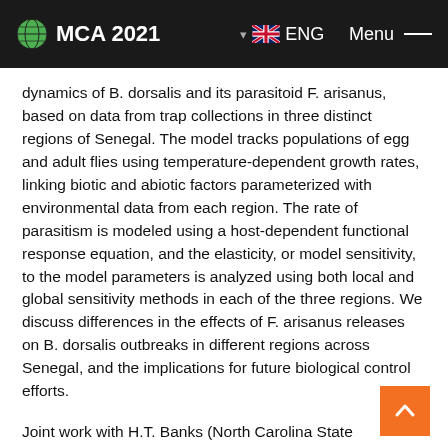MCA 2021   ▾ 🇬🇧 ENG   Menu —
dynamics of B. dorsalis and its parasitoid F. arisanus, based on data from trap collections in three distinct regions of Senegal. The model tracks populations of egg and adult flies using temperature-dependent growth rates, linking biotic and abiotic factors parameterized with environmental data from each region. The rate of parasitism is modeled using a host-dependent functional response equation, and the elasticity, or model sensitivity, to the model parameters is analyzed using both local and global sensitivity methods in each of the three regions. We discuss differences in the effects of F. arisanus releases on B. dorsalis outbreaks in different regions across Senegal, and the implications for future biological control efforts.
Joint work with H.T. Banks (North Carolina State University, Raleigh, NC), Natalie G. Cody (North Carolina State University,